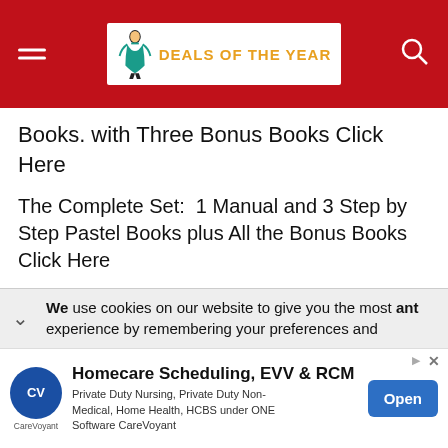DEALS OF THE YEAR
Books. with Three Bonus Books Click Here
The Complete Set:  1 Manual and 3 Step by Step Pastel Books plus All the Bonus Books Click Here
Please don’t hesitate to write to me if you have any questions or problems:
We use cookies on our website to give you the most relevant experience by remembering your preferences and
Homecare Scheduling, EVV & RCM
Private Duty Nursing, Private Duty Non-Medical, Home Health, HCBS under ONE Software CareVoyant